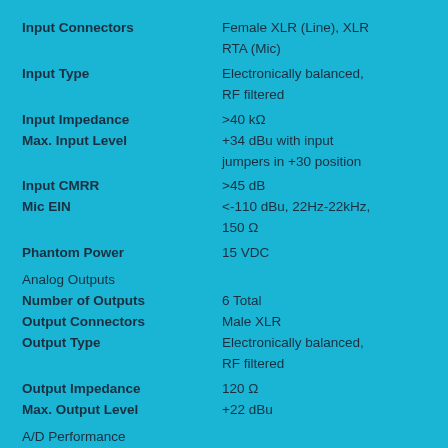| Parameter | Value |
| --- | --- |
| Input Connectors | Female XLR (Line), XLR RTA (Mic) |
| Input Type | Electronically balanced, RF filtered |
| Input Impedance | >40 kΩ |
| Max. Input Level | +34 dBu with input jumpers in +30 position |
| Input CMRR | >45 dB |
| Mic EIN | <-110 dBu, 22Hz-22kHz, 150 Ω |
| Phantom Power | 15 VDC |
| Analog Outputs |  |
| Number of Outputs | 6 Total |
| Output Connectors | Male XLR |
| Output Type | Electronically balanced, RF filtered |
| Output Impedance | 120 Ω |
| Max. Output Level | +22 dBu |
| A/D Performance |  |
| Type | dBx Type IV conversion system |